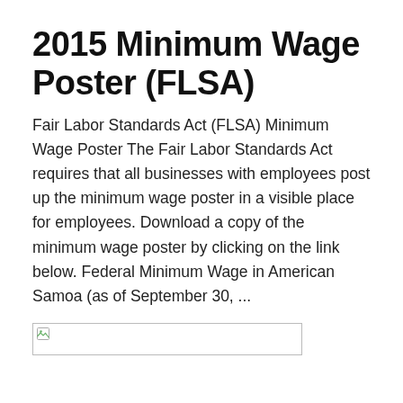2015 Minimum Wage Poster (FLSA)
Fair Labor Standards Act (FLSA) Minimum Wage Poster The Fair Labor Standards Act requires that all businesses with employees post up the minimum wage poster in a visible place for employees. Download a copy of the minimum wage poster by clicking on the link below. Federal Minimum Wage in American Samoa (as of September 30, ...
[Figure (other): Broken image placeholder showing a small image icon inside a rectangular bordered box]